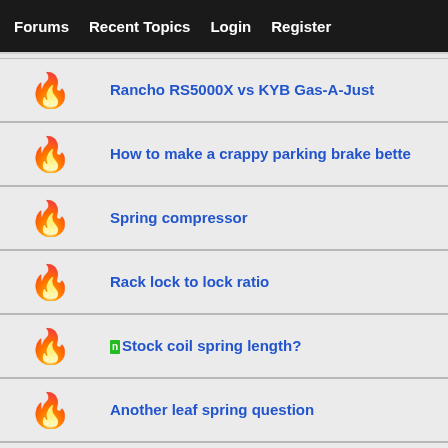Forums   Recent Topics   Login   Register
Rancho RS5000X vs KYB Gas-A-Just
How to make a crappy parking brake bette
Spring compressor
Rack lock to lock ratio
Stock coil spring length?
Another leaf spring question
Leaf springs
Rear leaf springs from 1998, will they fit a 1990 ?